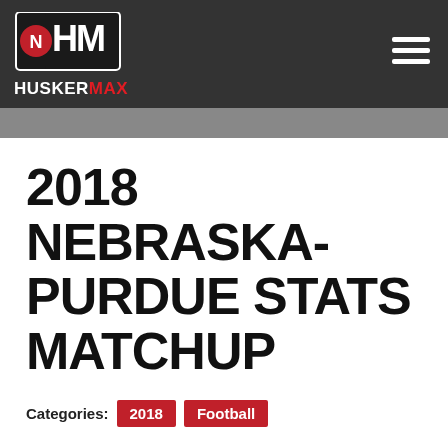HUSKERMAX
2018 NEBRASKA-PURDUE STATS MATCHUP
Categories: 2018 Football
BY HUSKERMAX ON 9/23/2018
How do the Cornhuskers and Boilermakers match up statistically entering their Sept. 29th game in Lincoln? Here a